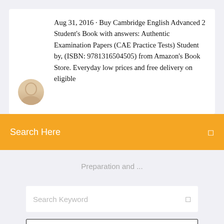Aug 31, 2016 · Buy Cambridge English Advanced 2 Student's Book with answers: Authentic Examination Papers (CAE Practice Tests) Student by, (ISBN: 9781316504505) from Amazon's Book Store. Everyday low prices and free delivery on eligible...
Search Here
Preparation and ...
Search Keyword
Search